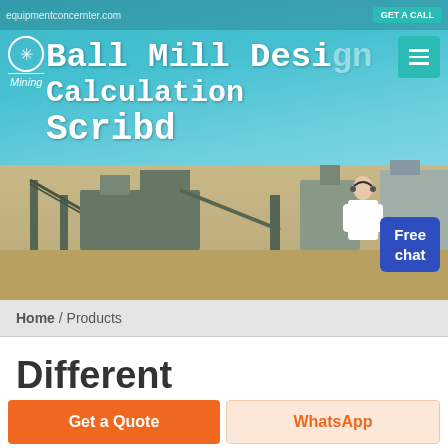[Figure (screenshot): Hero banner showing a mining equipment facility with industrial machinery silhouetted against a teal/cyan sky background]
Ball Mill Design Calculation Scribd
Home / Products
Different Machines To Meet All
Get a Quote
WhatsApp